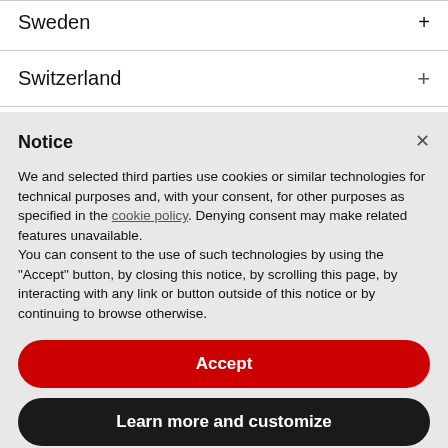Sweden +
Switzerland +
Turkey +
Notice
We and selected third parties use cookies or similar technologies for technical purposes and, with your consent, for other purposes as specified in the cookie policy. Denying consent may make related features unavailable.
You can consent to the use of such technologies by using the "Accept" button, by closing this notice, by scrolling this page, by interacting with any link or button outside of this notice or by continuing to browse otherwise.
Accept
Learn more and customize